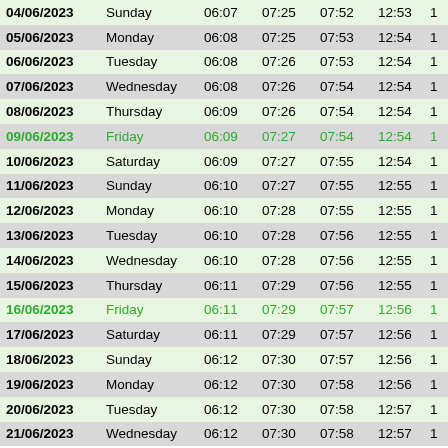| Date | Day | Col3 | Col4 | Col5 | Col6 | Col7 |
| --- | --- | --- | --- | --- | --- | --- |
| 04/06/2023 | Sunday | 06:07 | 07:25 | 07:52 | 12:53 | 1 |
| 05/06/2023 | Monday | 06:08 | 07:25 | 07:53 | 12:54 | 1 |
| 06/06/2023 | Tuesday | 06:08 | 07:26 | 07:53 | 12:54 | 1 |
| 07/06/2023 | Wednesday | 06:08 | 07:26 | 07:54 | 12:54 | 1 |
| 08/06/2023 | Thursday | 06:09 | 07:26 | 07:54 | 12:54 | 1 |
| 09/06/2023 | Friday | 06:09 | 07:27 | 07:54 | 12:54 | 1 |
| 10/06/2023 | Saturday | 06:09 | 07:27 | 07:55 | 12:54 | 1 |
| 11/06/2023 | Sunday | 06:10 | 07:27 | 07:55 | 12:55 | 1 |
| 12/06/2023 | Monday | 06:10 | 07:28 | 07:55 | 12:55 | 1 |
| 13/06/2023 | Tuesday | 06:10 | 07:28 | 07:56 | 12:55 | 1 |
| 14/06/2023 | Wednesday | 06:10 | 07:28 | 07:56 | 12:55 | 1 |
| 15/06/2023 | Thursday | 06:11 | 07:29 | 07:56 | 12:55 | 1 |
| 16/06/2023 | Friday | 06:11 | 07:29 | 07:57 | 12:56 | 1 |
| 17/06/2023 | Saturday | 06:11 | 07:29 | 07:57 | 12:56 | 1 |
| 18/06/2023 | Sunday | 06:12 | 07:30 | 07:57 | 12:56 | 1 |
| 19/06/2023 | Monday | 06:12 | 07:30 | 07:58 | 12:56 | 1 |
| 20/06/2023 | Tuesday | 06:12 | 07:30 | 07:58 | 12:57 | 1 |
| 21/06/2023 | Wednesday | 06:12 | 07:30 | 07:58 | 12:57 | 1 |